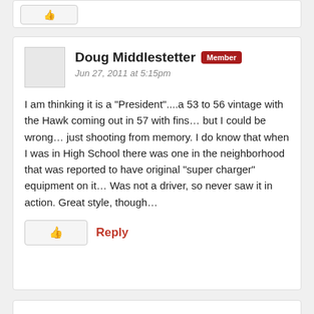Doug Middlestetter Member
Jun 27, 2011 at 5:15pm

I am thinking it is a "President"....a 53 to 56 vintage with the Hawk coming out in 57 with fins… but I could be wrong… just shooting from memory. I do know that when I was in High School there was one in the neighborhood that was reported to have original "super charger" equipment on it… Was not a driver, so never saw it in action. Great style, though…